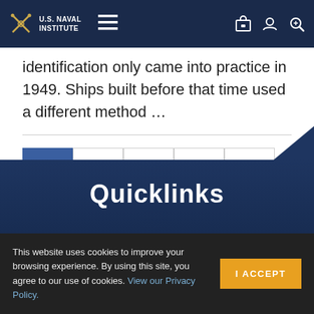U.S. Naval Institute
identification only came into practice in 1949. Ships built before that time used a different method …
1  2  3  4  5  6  7  8  9  »  Last »
Quicklinks
This website uses cookies to improve your browsing experience. By using this site, you agree to our use of cookies. View our Privacy Policy.